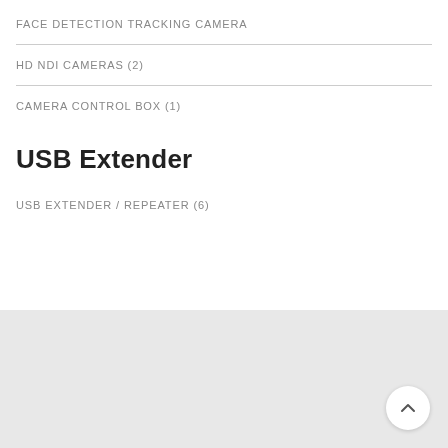FACE DETECTION TRACKING CAMERA
HD NDI CAMERAS (2)
CAMERA CONTROL BOX (1)
USB Extender
USB EXTENDER / REPEATER (6)